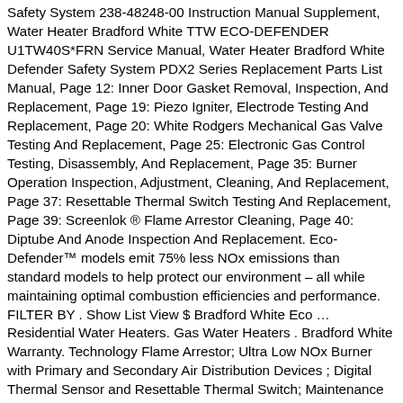Safety System 238-48248-00 Instruction Manual Supplement, Water Heater Bradford White TTW ECO-DEFENDER U1TW40S*FRN Service Manual, Water Heater Bradford White Defender Safety System PDX2 Series Replacement Parts List Manual, Page 12: Inner Door Gasket Removal, Inspection, And Replacement, Page 19: Piezo Igniter, Electrode Testing And Replacement, Page 20: White Rodgers Mechanical Gas Valve Testing And Replacement, Page 25: Electronic Gas Control Testing, Disassembly, And Replacement, Page 35: Burner Operation Inspection, Adjustment, Cleaning, And Replacement, Page 37: Resettable Thermal Switch Testing And Replacement, Page 39: Screenlok ® Flame Arrestor Cleaning, Page 40: Diptube And Anode Inspection And Replacement. Eco-Defender™ models emit 75% less NOx emissions than standard models to help protect our environment – all while maintaining optimal combustion efficiencies and performance. FILTER BY . Show List View $ Bradford White Eco … Residential Water Heaters. Gas Water Heaters . Bradford White Warranty. Technology Flame Arrestor; Ultra Low NOx Burner with Primary and Secondary Air Distribution Devices ; Digital Thermal Sensor and Resettable Thermal Switch; Maintenance Free; … This Item: Bradford White Eco-Defender Safety System® 48 gal Tall 40 MBH Residential Nstural Gas Water Heater / $ 1,400.00 Ostsy 24 in. Tall 40 MBH